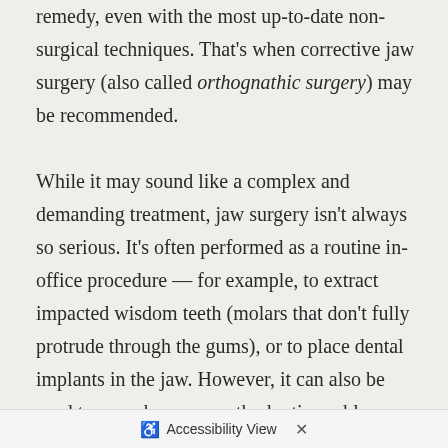remedy, even with the most up-to-date non-surgical techniques. That's when corrective jaw surgery (also called orthognathic surgery) may be recommended.

While it may sound like a complex and demanding treatment, jaw surgery isn't always so serious. It's often performed as a routine in-office procedure — for example, to extract impacted wisdom teeth (molars that don't fully protrude through the gums), or to place dental implants in the jaw. However, it can also be used to remedy severe orthodontic problems involving the relationship between the teeth and jaws, including the correction of underbites (the most frequent surgical correction) and congenital abnormalities (birth defects) related to jaw development. It can even help alleviate … ally life-
[Figure (screenshot): Accessibility View toolbar at the bottom of the screen with a wheelchair icon, text 'Accessibility View', and an X close button]